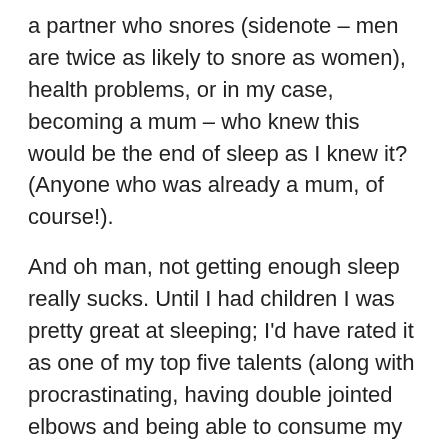a partner who snores (sidenote – men are twice as likely to snore as women), health problems, or in my case, becoming a mum – who knew this would be the end of sleep as I knew it? (Anyone who was already a mum, of course!).
And oh man, not getting enough sleep really sucks. Until I had children I was pretty great at sleeping; I'd have rated it as one of my top five talents (along with procrastinating, having double jointed elbows and being able to consume my entire body weight in chocolate in one sitting without being sick). I was so good at sleeping I used to be able to pull 10 hours straight, 7 nights a week and still take a lie in on the weekends.